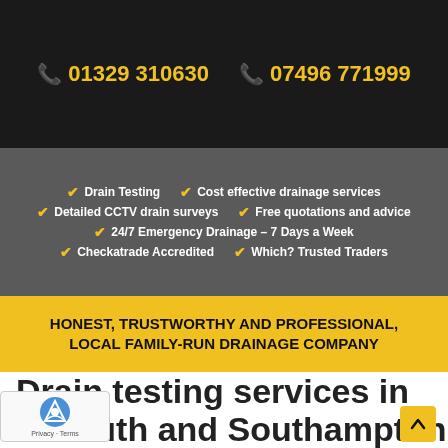📞 01329 310630   📞 07496 771999
✓ Drain Testing   ✓ Cost effective drainage services
✓ Detailed CCTV drain surveys   ✓ Free quotations and advice
✓ 24/7 Emergency Drainage – 7 Days a Week
✓ Checkatrade Accredited   ✓ Which? Trusted Traders
HONEST, TRUSTWORTHY AND PROFESSIONAL, LOCAL FAMILY-RUN DRAINAGE COMPANY
Drain testing services in Portsmouth and Southampton